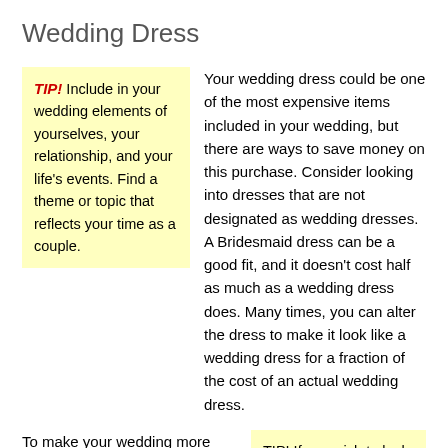Wedding Dress
TIP! Include in your wedding elements of yourselves, your relationship, and your life's events. Find a theme or topic that reflects your time as a couple.
Your wedding dress could be one of the most expensive items included in your wedding, but there are ways to save money on this purchase. Consider looking into dresses that are not designated as wedding dresses. A Bridesmaid dress can be a good fit, and it doesn't cost half as much as a wedding dress does. Many times, you can alter the dress to make it look like a wedding dress for a fraction of the cost of an actual wedding dress.
To make your wedding more personal, include a theme that encompasses you, your future
TIP! If you wish to look more stunning on your wedding day but are